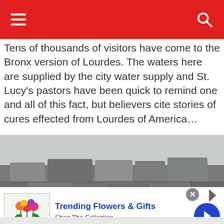Navigation header with hamburger menu and search icon
Tens of thousands of visitors have come to the Bronx version of Lourdes. The waters here are supplied by the city water supply and St. Lucy’s pastors have been quick to remind one and all of this fact, but believers cite stories of cures effected from Lourdes of America…
[Figure (photo): Stone wall with bronze plaques, appearing to be a grotto or memorial structure with stacked rocks]
[Figure (other): Advertisement banner for 1800flowers.com: Trending Flowers & Gifts, Shop The Collection, www.1800flowers.com, with flower bouquet image and blue arrow button]